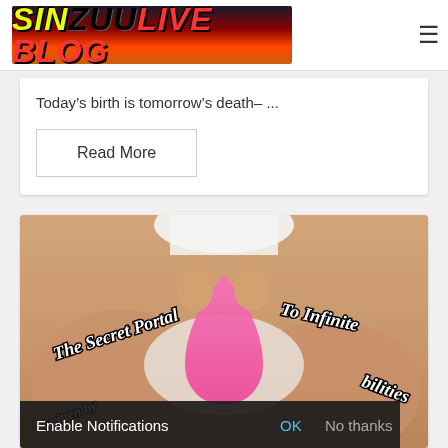SINZUULIVE BLOG
Today’s birth is tomorrow’s death– ...
Read More
[Figure (photo): Image showing text overlay: 'The Secret Portal To Infinite Possibilities written by...' with decorative styled typography on a photo background with a pink drop shape]
Enable Notifications  OK  No thanks